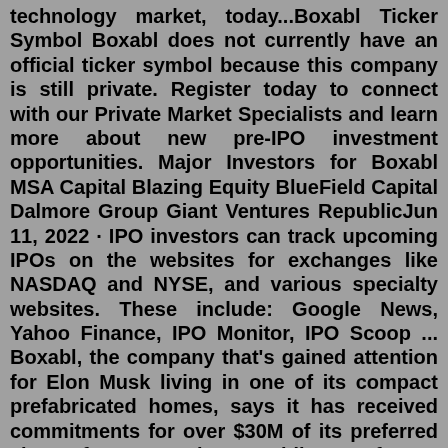technology market, today...Boxabl Ticker Symbol Boxabl does not currently have an official ticker symbol because this company is still private. Register today to connect with our Private Market Specialists and learn more about new pre-IPO investment opportunities. Major Investors for Boxabl MSA Capital Blazing Equity BlueField Capital Dalmore Group Giant Ventures RepublicJun 11, 2022 · IPO investors can track upcoming IPOs on the websites for exchanges like NASDAQ and NYSE, and various specialty websites. These include: Google News, Yahoo Finance, IPO Monitor, IPO Scoop ... Boxabl, the company that's gained attention for Elon Musk living in one of its compact prefabricated homes, says it has received commitments for over $30M of its preferred shares from more than ...Folding out from a shipping container-sized package into a wide open 19.5'x19.5' 375-square foot home, Boxabl's Casita - complete with a full-sized kitchen and bathroom - demonstrates the endless possibilities that can take shape using its advanced, high-strength EPS foam